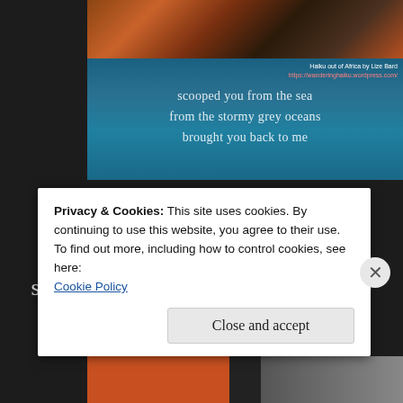[Figure (photo): Website screenshot showing a blog post page with a haiku image at the top featuring orange/brown tones at top merging into teal/blue background with white text of a haiku poem, and credit text 'Haiku out of Africa by Lize Bard' with URL https://wanderinghaiku.wordpress.com/]
scooped you from the sea
from the stormy grey oceans
brought you back to me
LITTLE ONE
scoped you from the sea ~ from the
Privacy & Cookies: This site uses cookies. By continuing to use this website, you agree to their use.
To find out more, including how to control cookies, see here:
Cookie Policy
Close and accept